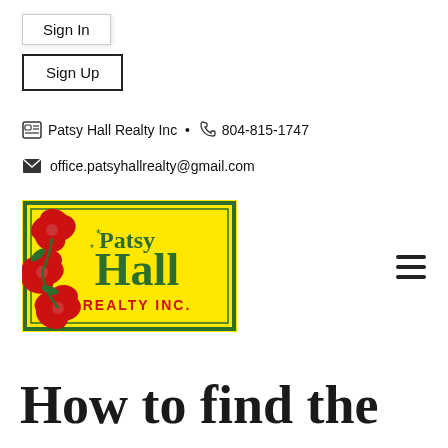Sign In
Sign Up
Patsy Hall Realty Inc  •  804-815-1747
office.patsyhallrealty@gmail.com
[Figure (logo): Patsy Hall Realty Inc logo - yellow background with red hibiscus flowers, green border, text reading Patsy Hall REALTY INC.]
How to find the